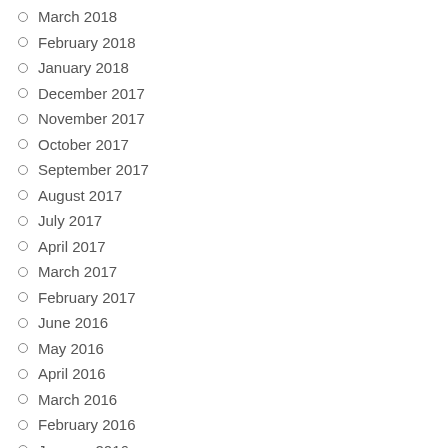March 2018
February 2018
January 2018
December 2017
November 2017
October 2017
September 2017
August 2017
July 2017
April 2017
March 2017
February 2017
June 2016
May 2016
April 2016
March 2016
February 2016
January 2016